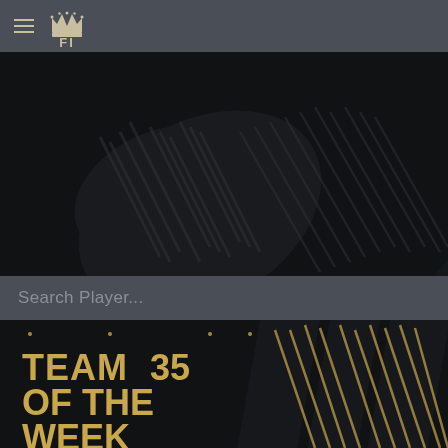[Figure (screenshot): Navigation bar with hamburger menu icon and FI logo with crown]
[Figure (photo): Dark hero banner with abstract dark football/soccer texture pattern]
Search Player...
[Figure (screenshot): Team 35 of the Week banner with gold text on dark background with player silhouettes]